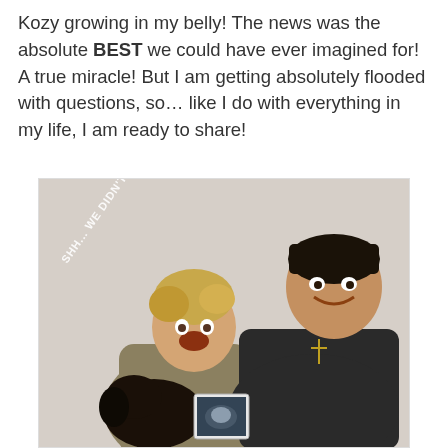Kozy growing in my belly! The news was the absolute BEST we could have ever imagined for! A true miracle! But I am getting absolutely flooded with questions, so… like I do with everything in my life, I am ready to share!
[Figure (photo): A couple posing for a pregnancy announcement photo. A woman with blonde hair holds a black dog and an ultrasound photo, with a surprised/excited expression. A man in a dark sweater with a cross necklace leans in smiling. White overlay text reads 'SHH... WE DIDN'T TELL THEM YET!']